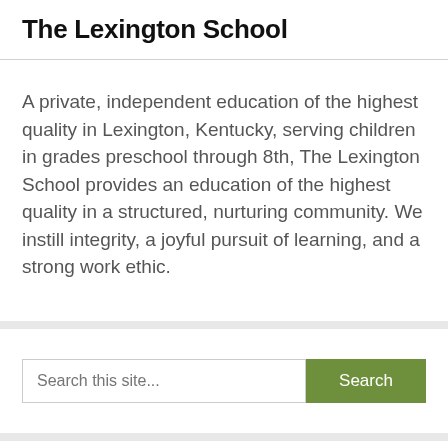The Lexington School
A private, independent education of the highest quality in Lexington, Kentucky, serving children in grades preschool through 8th, The Lexington School provides an education of the highest quality in a structured, nurturing community. We instill integrity, a joyful pursuit of learning, and a strong work ethic.
Search this site...
Recent Posts